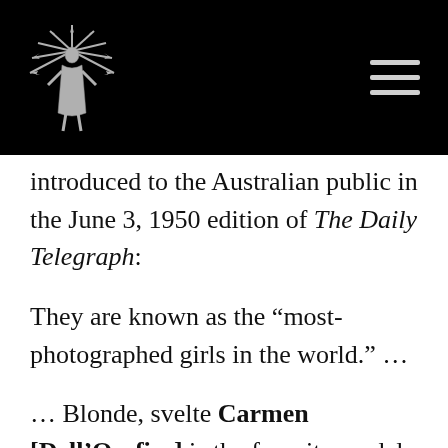[Logo and navigation bar]
introduced to the Australian public in the June 3, 1950 edition of The Daily Telegraph:
They are known as the “most-photographed girls in the world.” …
… Blonde, svelte Carmen [Dell’Orefice] is the favorite model of British photographer Cecil Beaton, who has described her as “the most beautiful woman in the world.” She holds several New York